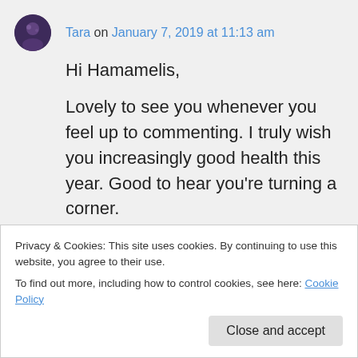Tara on January 7, 2019 at 11:13 am
Hi Hamamelis,
Lovely to see you whenever you feel up to commenting. I truly wish you increasingly good health this year. Good to hear you’re turning a corner.

I heard a negative review of A Gentlemen in Moscow and it put me off but maybe I should give it a try. Most people, like you,
Privacy & Cookies: This site uses cookies. By continuing to use this website, you agree to their use.
To find out more, including how to control cookies, see here: Cookie Policy
Close and accept